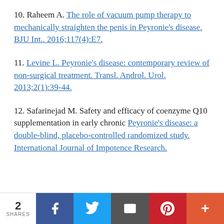10. Raheem A. The role of vacuum pump therapy to mechanically straighten the penis in Peyronie's disease. BJU Int.. 2016;117(4):E7.
11. Levine L. Peyronie's disease: contemporary review of non-surgical treatment. Transl. Androl. Urol. 2013;2(1):39-44.
12. Safarinejad M. Safety and efficacy of coenzyme Q10 supplementation in early chronic Peyronie's disease: a double-blind, placebo-controlled randomized study. International Journal of Impotence Research.
2 SHARES | Facebook | Twitter | Email | Pinterest | More